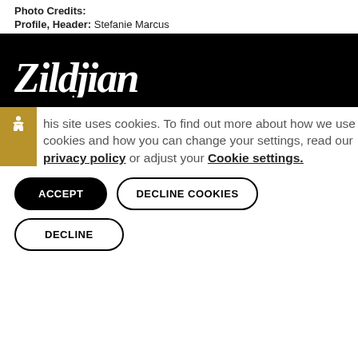Photo Credits:
Profile, Header: Stefanie Marcus
[Figure (logo): Zildjian logo in white text on black background banner]
This site uses cookies. To find out more about how we use cookies and how you can change your settings, read our privacy policy or adjust your Cookie settings.
ACCEPT
DECLINE COOKIES
DECLINE